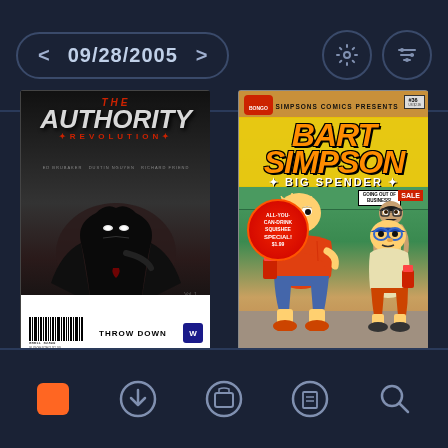09/28/2005
[Figure (illustration): The Authority Revolution comic book cover - dark superhero figure with glowing eyes, title text at top, barcode and THROW DOWN text at bottom]
[Figure (illustration): Simpsons Comics Presents Bart Simpson Big Spender #36 comic book cover - Bart and Milhouse walking outside a store, badge reading ALL-YOU-CAN-DRINK SQUISHEE SPECIAL $1.99]
Navigation bar with home, download, library, reading list, and search icons